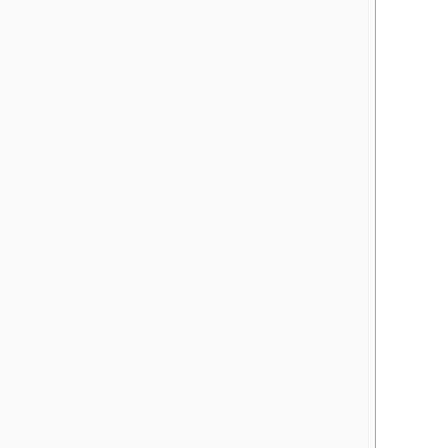The minimum allowed value is one second. The maximum allowed value is 20 seconds.
3 Extending CTP
CTP is designed to be extended with pipeline stages of new types. Stages implement one or more Java interfaces. It is useful to obtain the source code and build it in order to obtain the Javadocs, even though in principle you don't need to modify the code itself.
3.1 Obtaining the Source Code
The software for CTP is open source. All the software written by the RSNA for the project is released under the RSNA Public License. It is maintained on a CVS server at RSNA headquarters. To